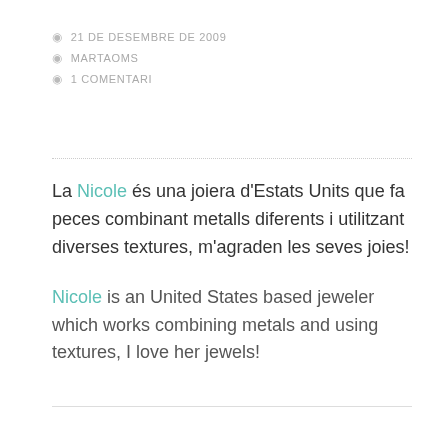21 DE DESEMBRE DE 2009
MARTAOMS
1 COMENTARI
La Nicole és una joiera d'Estats Units que fa peces combinant metalls diferents i utilitzant diverses textures, m'agraden les seves joies!
Nicole is an United States based jeweler which works combining metals and using textures, I love her jewels!